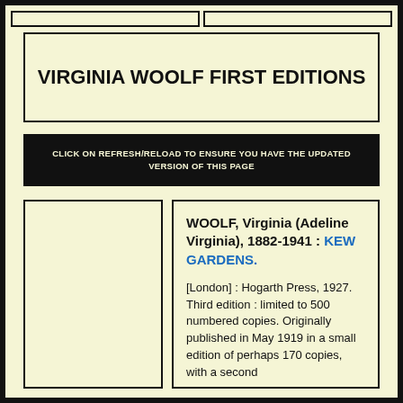VIRGINIA WOOLF FIRST EDITIONS
CLICK ON REFRESH/RELOAD TO ENSURE YOU HAVE THE UPDATED VERSION OF THIS PAGE
WOOLF, Virginia (Adeline Virginia), 1882-1941 : KEW GARDENS.

[London] : Hogarth Press, 1927. Third edition : limited to 500 numbered copies. Originally published in May 1919 in a small edition of perhaps 170 copies, with a second